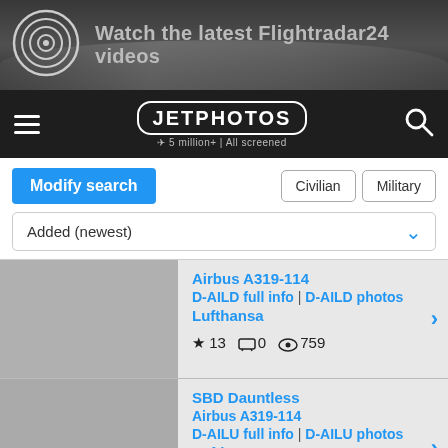[Figure (screenshot): Top advertisement banner for Flightradar24 videos with aircraft engine image and circular logo icon on dark background]
[Figure (logo): JetPhotos navigation bar with hamburger menu, JETPHOTOS logo with '5 million+ | All screened' tagline, and search icon on dark background]
Modify search
Civilian | Military
Added (newest)
Airbus A319-114
D-AILD full info | D-AILD photos
Lufthansa
★ 13  💬 0  👁 759
SBD Dauntless
Airbus A319-114
D-AILU full info | D-AILU photos
Lufthansa
★ 3  💬 0  👁 174